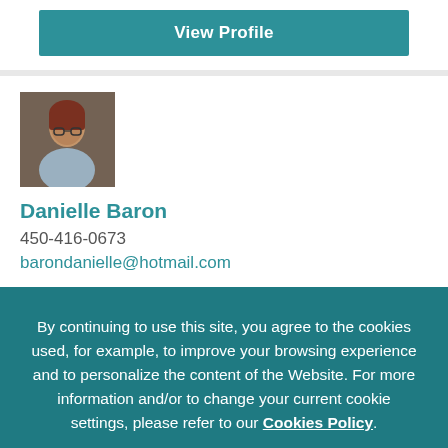[Figure (other): View Profile button — teal/green rectangular button with white bold text]
[Figure (photo): Small square profile photo of a woman with short reddish-brown hair]
Danielle Baron
450-416-0673
barondanielle@hotmail.com
By continuing to use this site, you agree to the cookies used, for example, to improve your browsing experience and to personalize the content of the Website. For more information and/or to change your current cookie settings, please refer to our Cookies Policy.
[Figure (other): I accept button — white rectangular button with grey text on teal background]